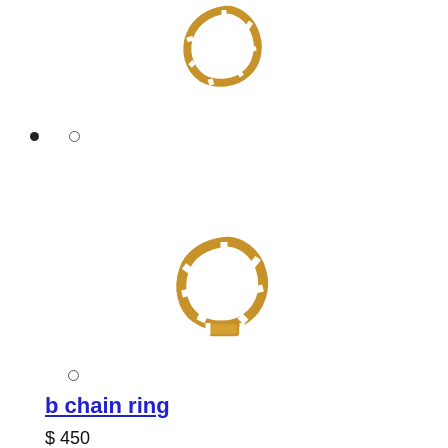[Figure (photo): Gold chain ring viewed from above, first image in carousel]
[Figure (other): Carousel navigation dots: one filled black dot and one empty circle]
[Figure (photo): Gold chain ring viewed from above, second image in carousel]
[Figure (other): Carousel navigation dot: one empty circle]
b chain ring
$ 450